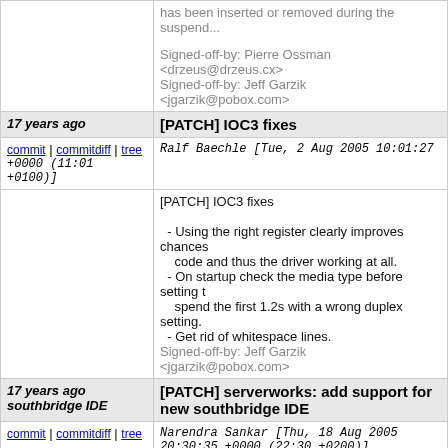has been inserted or removed during the suspend...
Signed-off-by: Pierre Ossman <drzeus@drzeus.cx>
Signed-off-by: Jeff Garzik <jgarzik@pobox.com>
| 17 years ago | [PATCH] IOC3 fixes |
| --- | --- |
commit | commitdiff | tree   Ralf Baechle [Tue, 2 Aug 2005 10:01:27 +0000 (11:01 +0100)]
[PATCH] IOC3 fixes
- Using the right register clearly improves chances code and thus the driver working at all.
- On startup check the media type before setting, spend the first 1.2s with a wrong duplex setting.
- Get rid of whitespace lines.
Signed-off-by: Jeff Garzik <jgarzik@pobox.com>
| 17 years ago southbridge IDE | [PATCH] serverworks: add support for new southbridge IDE |
| --- | --- |
commit | commitdiff | tree   Narendra Sankar [Thu, 18 Aug 2005 20:30:35 +0000 (22:30 +0200)]
[PATCH] serverworks: add support for new southb...
BCM5785 (HT1000) is a Opteron Southbridge fron...